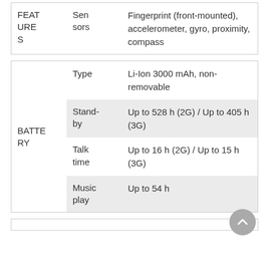|  | Sensors |  |
| --- | --- | --- |
| FEATURES | Sensors | Fingerprint (front-mounted), accelerometer, gyro, proximity, compass |
|  |  |  |
| --- | --- | --- |
| BATTERY | Type | Li-Ion 3000 mAh, non-removable |
|  | Stand-by | Up to 528 h (2G) / Up to 405 h (3G) |
|  | Talk time | Up to 16 h (2G) / Up to 15 h (3G) |
|  | Music play | Up to 54 h |